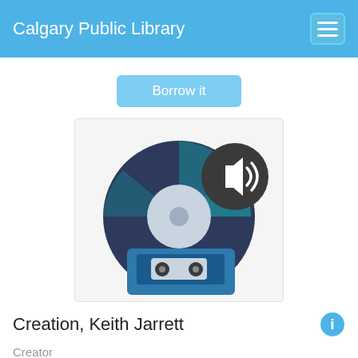Calgary Public Library
Borrow it
[Figure (illustration): Music media icon showing a vinyl record (dark navy/teal) with a cassette tape overlaid in front, and a dark circular audio speaker badge in the top-right corner with sound waves icon.]
Creation, Keith Jarrett
Creator
Jarrett, Keith
Composer